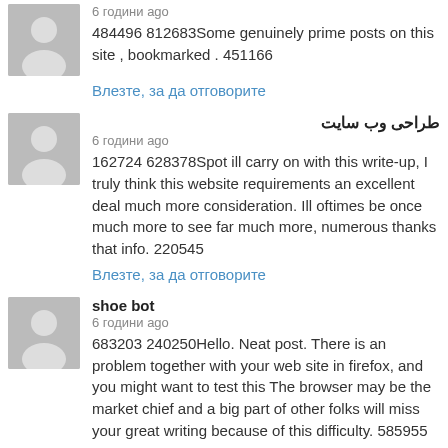484496 812683Some genuinely prime posts on this site , bookmarked . 451166
Влезте, за да отговорите
طراحی وب سایت
6 години ago
162724 628378Spot ill carry on with this write-up, I truly think this website requirements an excellent deal much more consideration. Ill oftimes be once much more to see far much more, numerous thanks that info. 220545
Влезте, за да отговорите
shoe bot
6 години ago
683203 240250Hello. Neat post. There is an problem together with your web site in firefox, and you might want to test this The browser may be the market chief and a big part of other folks will miss your great writing because of this difficulty. 585955
Влезте, за да отговорите
startup